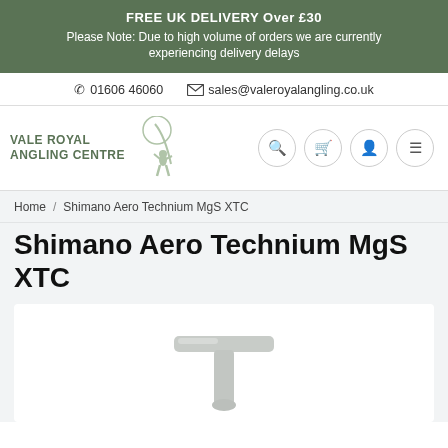FREE UK DELIVERY Over £30
Please Note: Due to high volume of orders we are currently experiencing delivery delays
✆ 01606 46060   ✉ sales@valeroyalangling.co.uk
[Figure (logo): Vale Royal Angling Centre logo with angler silhouette]
Home / Shimano Aero Technium MgS XTC
Shimano Aero Technium MgS XTC
[Figure (photo): Product image of Shimano Aero Technium MgS XTC fishing reel component, partial view on white background]